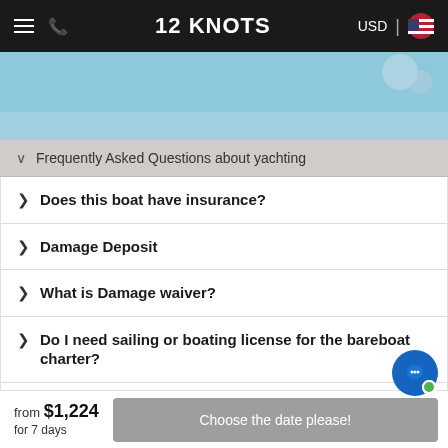12 KNOTS
[Figure (photo): Aerial or map view hero image with light blue background suggesting water/nautical theme]
Frequently Asked Questions about yachting
Does this boat have insurance?
Damage Deposit
What is Damage waiver?
Do I need sailing or boating license for the bareboat charter?
Cancellation policy
Booking procedure
from $1,224
for 7 days
Choose the date please!